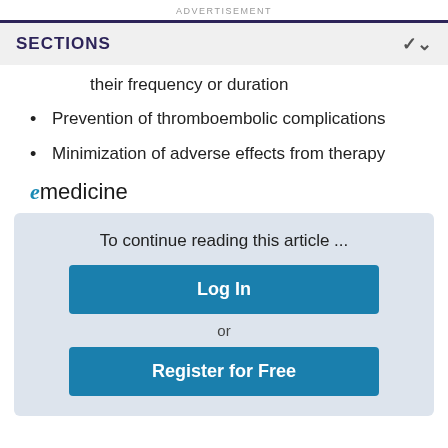ADVERTISEMENT
SECTIONS
their frequency or duration
Prevention of thromboembolic complications
Minimization of adverse effects from therapy
[Figure (logo): eMedicine logo with italic stylized 'e' in blue]
To continue reading this article ...
Log In
or
Register for Free